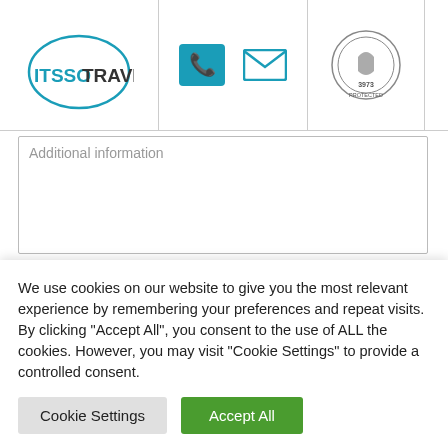[Figure (logo): ITSSO TRAVEL logo with circular arc, teal phone icon, teal email envelope icon, ABTA 3973 protected circular badge, and hamburger menu icon]
Additional information
Would you like to be kept updated on our special events, news and offers? *
Yes please, I would like to receive emails about your special events, news and offers.
We use cookies on our website to give you the most relevant experience by remembering your preferences and repeat visits. By clicking "Accept All", you consent to the use of ALL the cookies. However, you may visit "Cookie Settings" to provide a controlled consent.
Cookie Settings | Accept All